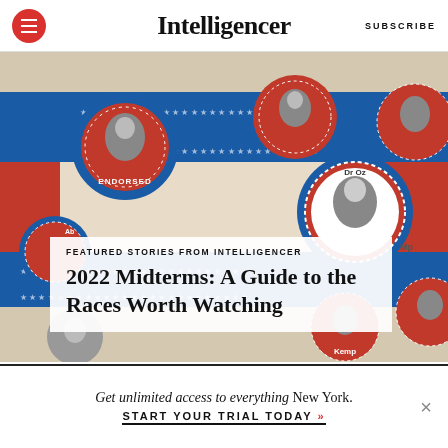Intelligencer | SUBSCRIBE
[Figure (photo): Political campaign buttons/pins featuring black and white portraits, red and blue star-bordered circles, on a red and blue striped background. Visible text includes 'ENDORSED', 'Dr Oz', 'Kemp'. An overlay box reads: 'FEATURED STORIES FROM INTELLIGENCER' and '2022 Midterms: A Guide to the Races Worth Watching'.]
FEATURED STORIES FROM INTELLIGENCER
2022 Midterms: A Guide to the Races Worth Watching
Get unlimited access to everything New York.
START YOUR TRIAL TODAY »